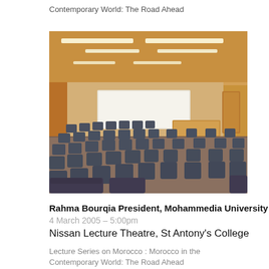Contemporary World: The Road Ahead
[Figure (photo): Interior of a lecture theatre with rows of blue/grey seats facing a whiteboard at the front, wooden panelled walls and ceiling with recessed lighting.]
Rahma Bourqia President, Mohammedia University
4 March 2005 – 5:00pm
Nissan Lecture Theatre, St Antony's College
Lecture Series on Morocco : Morocco in the Contemporary World: The Road Ahead